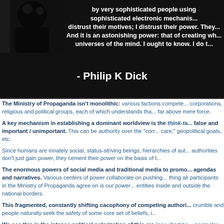[Figure (photo): Dark background image with a silhouette figure on the left. White bold text quote on the right and center reading: 'by very sophisticated people using sophisticated electronic mechanisms... distrust their motives; I distrust their power. They... And it is an astonishing power: that of creating wh... universes of the mind. I ought to know. I do t...' with attribution '- Philip K Dick' at the bottom.]
The Ministry of Propaganda isn't monolithic: various factions compete... corporations, religious and political groups, each of which understands tha... far above mere force.
A key mechanism in establishing a dominant worldview is the think-ta... false and important / unimportant. This can be authority over the "corr... care," geopolitical goals, etc.
Since humans are innately social, status-striving beings, hierarchies of aut... authorities don't just gain power, they cement their power on the basis of t...
The enormous powers of social media and traditional media to promo... agendas and narratives. Various centers of power collaborate on pushing... thing all participants in the Ministry of Propaganda agree on is our power... entities inside and outside the national borders.
This fragmented, constantly shifting cacophony of competing authori... crumble and people naturally seek the safety of some core set of beliefs, i...
We see this in the intense political polarization of this era (see chart be... perimeter of what's defendable, putting more of the world into "outside"...